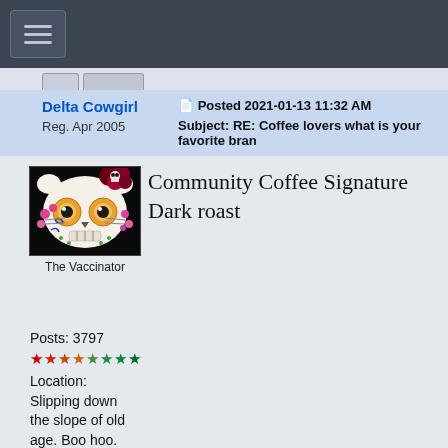[Figure (screenshot): Navigation bar with hamburger menu icon on dark background]
Delta Cowgirl
Reg. Apr 2005
Posted 2021-01-13 11:32 AM
Subject: RE: Coffee lovers what is your favorite bran
Community Coffee Signature Dark roast
[Figure (illustration): Avatar image: sugar skull Hello Kitty style illustration on black background]
The Vaccinator
Posts: 3797
★★★★★★★★
Location: Slipping down the slope of old age. Boo hoo.